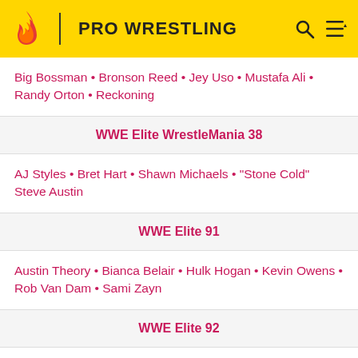PRO WRESTLING
Big Bossman • Bronson Reed • Jey Uso • Mustafa Ali • Randy Orton • Reckoning
WWE Elite WrestleMania 38
AJ Styles • Bret Hart • Shawn Michaels • "Stone Cold" Steve Austin
WWE Elite 91
Austin Theory • Bianca Belair • Hulk Hogan • Kevin Owens • Rob Van Dam • Sami Zayn
WWE Elite 92
Adam Cole • Bray Wyatt • Charlotte Flair • Rey Mysterio • Ric Flair • Scarlett
WWE Elite 93